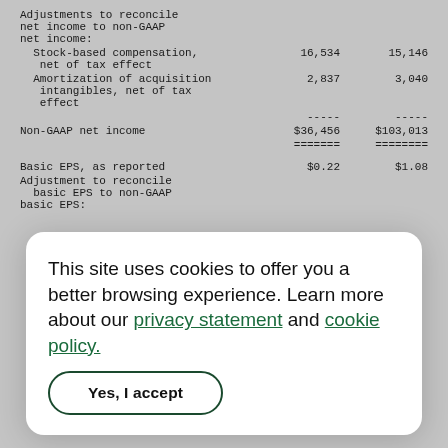| Description | Col1 | Col2 |
| --- | --- | --- |
| Adjustments to reconcile net income to non-GAAP net income: |  |  |
| Stock-based compensation, net of tax effect | 16,534 | 15,146 |
| Amortization of acquisition intangibles, net of tax effect | 2,837 | 3,040 |
| ----- | ----- |  |
| Non-GAAP net income | $36,456 | $103,013 |
| ======= | ======== |  |
| Basic EPS, as reported | $0.22 | $1.08 |
| Adjustment to reconcile basic EPS to non-GAAP basic EPS: |  |  |
This site uses cookies to offer you a better browsing experience. Learn more about our privacy statement and cookie policy.
Yes, I accept